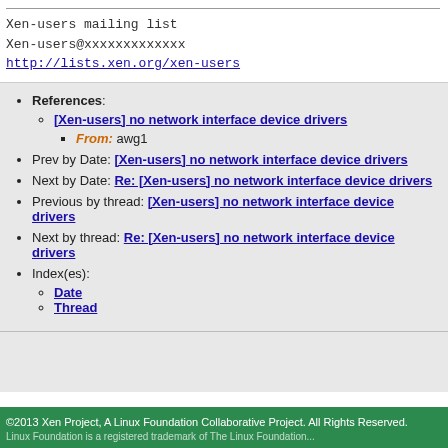Xen-users mailing list
Xen-users@xxxxxxxxxxxxx
http://lists.xen.org/xen-users
References: [Xen-users] no network interface device drivers — From: awg1
Prev by Date: [Xen-users] no network interface device drivers
Next by Date: Re: [Xen-users] no network interface device drivers
Previous by thread: [Xen-users] no network interface device drivers
Next by thread: Re: [Xen-users] no network interface device drivers
Index(es): Date, Thread
©2013 Xen Project, A Linux Foundation Collaborative Project. All Rights Reserved.